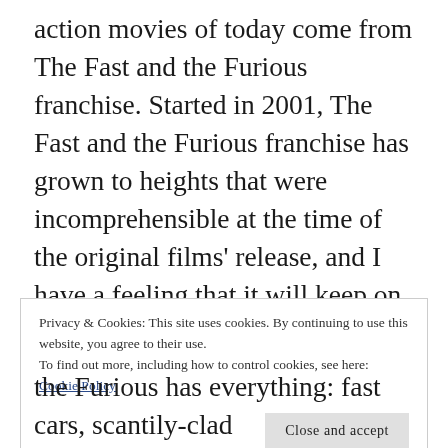action movies of today come from The Fast and the Furious franchise. Started in 2001, The Fast and the Furious franchise has grown to heights that were incomprehensible at the time of the original films' release, and I have a feeling that it will keep on growing. To honour this beloved franchise, I've decided to do a series re-watch starting with the first film, The Fast and the Furious. The Fast and the Furious follows Brian (Paul Walker), a newbie to the street racing scene who eventually earns the trust of Dominic Toretto (Vin Diesel) and his crew. Dominic
Privacy & Cookies: This site uses cookies. By continuing to use this website, you agree to their use.
To find out more, including how to control cookies, see here:
Cookie Policy
Close and accept
the Furious has everything: fast cars, scantily-clad